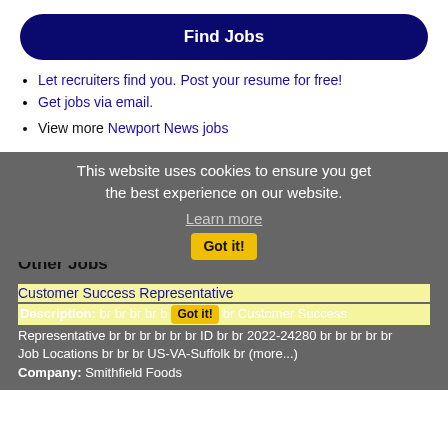[Figure (other): Find Jobs button - dark navy blue rounded rectangle button with white bold text]
Let recruiters find you. Post your resume for free!
Get jobs via email.
View more Newport News jobs
Other Jobs
Cookie banner: This website uses cookies to ensure you get the best experience on our website. Learn more. Got it!
Customer Success Representative
Description: br br br br br br br Customer Success Representative br br br br br br ID br br 2022-24280 br br br br br Job Locations br br br US-VA-Suffolk br (more...)
Company: Smithfield Foods